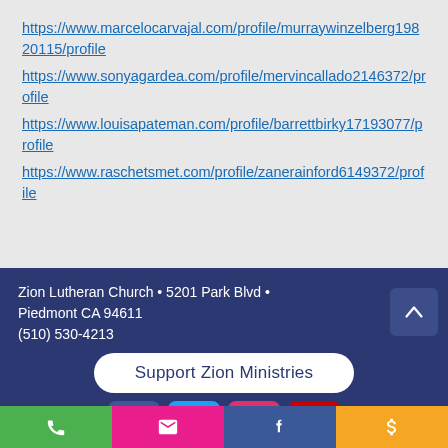https://www.marcelocarvajal.com/profile/murraywinzelberg19820115/profile
https://www.sonyagardea.com/profile/mervincallado2146372/profile
https://www.louisapateman.com/profile/barrettbirky17193077/profile
https://www.raschetsmet.com/profile/zanerainford6149372/profile
Zion Lutheran Church • 5201 Park Blvd • Piedmont CA 94611
(510) 530-4213
Support Zion Ministries
Site last updated 9/2/2022
© 2016-2022 by Zion Lutheran Church